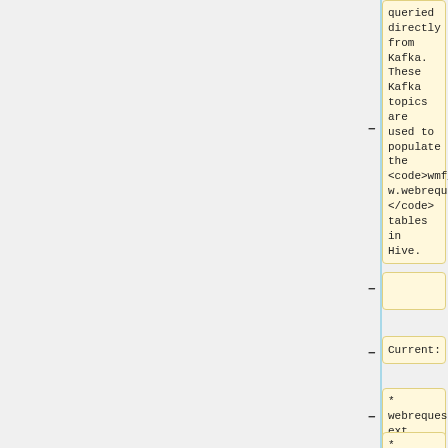queried directly from Kafka. These Kafka topics are used to populate the <code>wmf_raw.webrequest</code> tables in Hive.
Current:
* webrequest_text
*